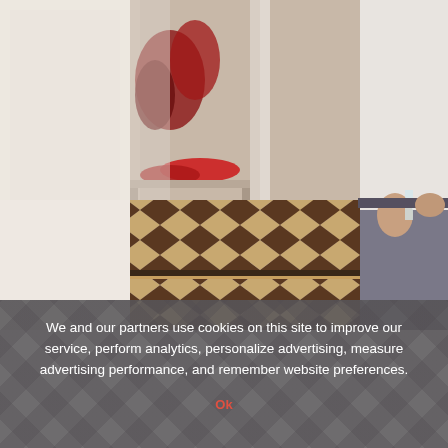[Figure (photo): Indoor hallway scene with a person in white shirt and grey trousers holding a glass, standing on a black and tan diamond-patterned tiled floor. On the left side there are decorative red/feathered items on a shelf or mirror area. White walls with white skirting boards line the corridor.]
We and our partners use cookies on this site to improve our service, perform analytics, personalize advertising, measure advertising performance, and remember website preferences.
Ok